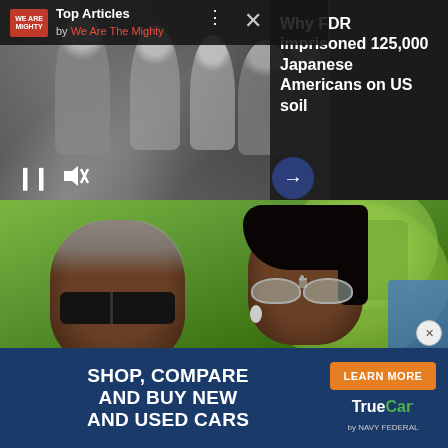[Figure (screenshot): Top Articles widget from We Are The Mighty showing black-and-white photo of Japanese American children with article headline about FDR imprisoning 125,000 Japanese Americans on US soil. Includes pause, mute, and next arrow controls.]
Why FDR imprisoned 125,000 Japanese Americans on US soil
[Figure (photo): Color photograph of Barack Obama and Michelle Obama outdoors. Barack wears dark sunglasses and a light blue checked shirt. Michelle wears heart-shaped sunglasses and a blue top. Green trees visible in background.]
[Figure (screenshot): Advertisement banner for TrueCar by Navy Federal. Dark navy blue background. Text reads: SHOP, COMPARE AND BUY NEW AND USED CARS. Orange LEARN MORE button on right side. TrueCar by Navy Federal logo.]